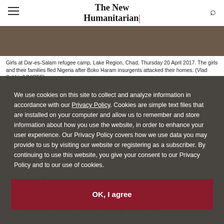The New Humanitarian
[Figure (photo): Photo strip of girls at refugee camp, partially visible]
Girls at Dar-es-Salam refugee camp, Lake Region, Chad, Thursday 20 April 2017. The girls and their families fled Nigeria after Boko Haram insurgents attacked their homes. (Vlad Sokhin/UNICEF)
We use cookies on this site to collect and analyze information in accordance with our Privacy Policy. Cookies are simple text files that are installed on your computer and allow us to remember and store information about how you use the website, in order to enhance your user experience. Our Privacy Policy covers how we use data you may provide to us by visiting our website or registering as a subscriber. By continuing to use this website, you give your consent to our Privacy Policy and to our use of cookies.
Our editors' weekly take on humanitarian news, trends, and developments from around the globe.
On our radar
Two deadly attacks this week by jihadist groups, in Chad and Nigeria, killed more than 140 soldiers, underlining the militants'